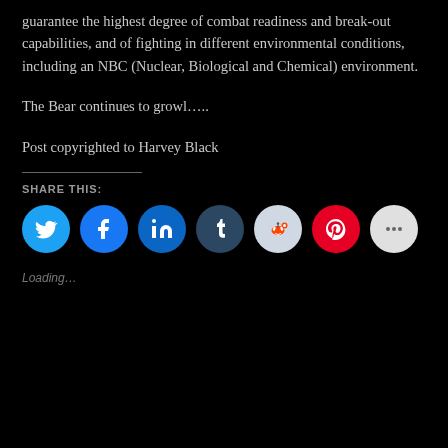guarantee the highest degree of combat readiness and break-out capabilities, and of fighting in different environmental conditions, including an NBC (Nuclear, Biological and Chemical) environment.
The Bear continues to growl…..
Post copyrighted to Harvey Black
SHARE THIS:
[Figure (infographic): Social share buttons: Twitter (blue), Facebook (blue), LinkedIn (blue), Tumblr (dark blue-grey), Reddit (light blue-grey), Pinterest (red), More (grey/white)]
Loading…